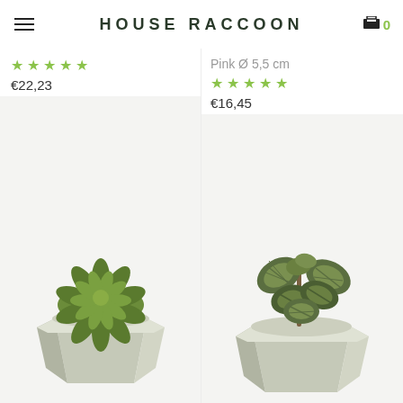HOUSE RACCOON
★★★★★
€22,23
Pink Ø 5,5 cm
★★★★★
€16,45
[Figure (photo): Succulent plant in a geometric faceted light gray concrete pot, photographed on white/light background]
[Figure (photo): Leafy plant (peperomia) in a geometric faceted light gray concrete pot, photographed on white/light background]